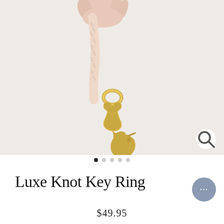[Figure (photo): A hand holding a braided cream/blush leather strap with a gold-tone metal snap hook/key ring hardware against a light gray-white background.]
Luxe Knot Key Ring
$49.95